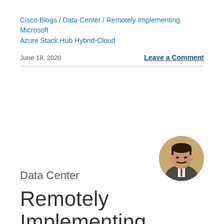Cisco Blogs / Data Center / Remotely Implementing Microsoft Azure Stack Hub Hybrid-Cloud
June 18, 2020
Leave a Comment
[Figure (photo): Circular headshot photo of a man with a mustache wearing a suit and tie]
Data Center
Remotely Implementing Microsoft Azure Stack